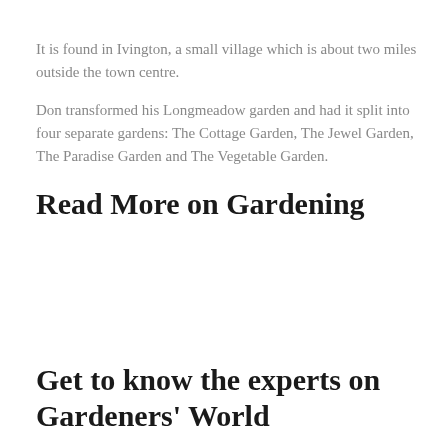It is found in Ivington, a small village which is about two miles outside the town centre.
Don transformed his Longmeadow garden and had it split into four separate gardens: The Cottage Garden, The Jewel Garden, The Paradise Garden and The Vegetable Garden.
Read More on Gardening
Get to know the experts on Gardeners' World